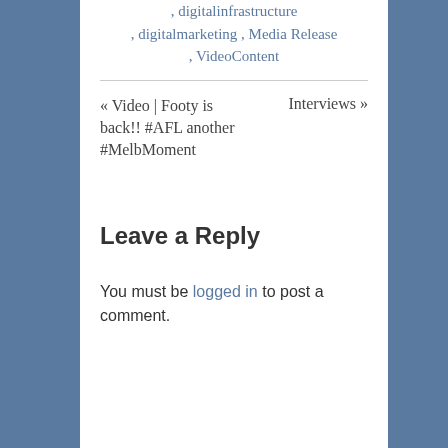, digitalinfrastructure , digitalmarketing , Media Release , VideoContent
« Video | Footy is back!! #AFL another #MelbMoment
Interviews »
Leave a Reply
You must be logged in to post a comment.